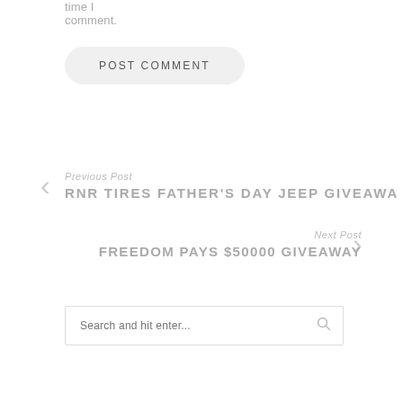time I comment.
POST COMMENT
Previous Post
RNR TIRES FATHER'S DAY JEEP GIVEAWA
Next Post
FREEDOM PAYS $50000 GIVEAWAY
Search and hit enter...